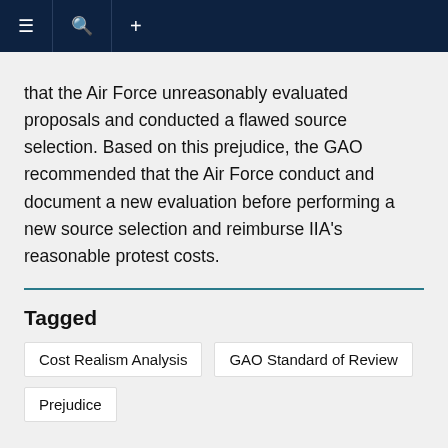≡ 🔍 +
that the Air Force unreasonably evaluated proposals and conducted a flawed source selection. Based on this prejudice, the GAO recommended that the Air Force conduct and document a new evaluation before performing a new source selection and reimburse IIA's reasonable protest costs.
Tagged
Cost Realism Analysis
GAO Standard of Review
Prejudice